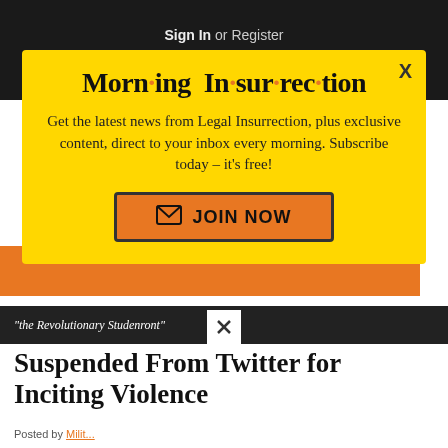Sign In or Register
[Figure (screenshot): Social media icons: Parler, Telegram, Facebook, Twitter, YouTube, RSS]
[Figure (infographic): Morning Insurrection popup modal with yellow background. Title: 'Morn·ing In·sur·rec·tion'. Body: 'Get the latest news from Legal Insurrection, plus exclusive content, direct to your inbox every morning. Subscribe today - it's free!' Button: 'JOIN NOW'. Close button X in top right.]
Suspended From Twitter for Inciting Violence
“the Revolutionary Studen…ront”
Posted by